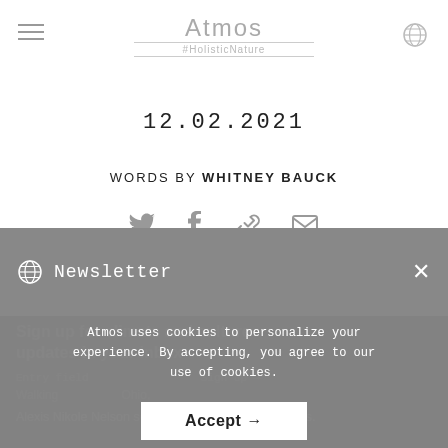Atmos #HolisticNature
12.02.2021
WORDS BY WHITNEY BAUCK
[Figure (infographic): Social share icons: Twitter, Facebook, link/chain, email envelope]
Newsletter
Sign up for climate and culture updates in your inbox
Atmos uses cookies to personalize your experience. By accepting, you agree to our use of cookies.
Accept →
Alexis Nikole Nelson sees food everywhere she looks.